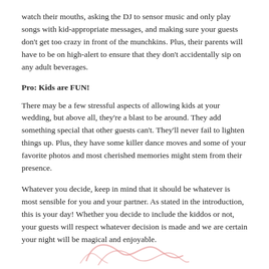watch their mouths, asking the DJ to sensor music and only play songs with kid-appropriate messages, and making sure your guests don't get too crazy in front of the munchkins. Plus, their parents will have to be on high-alert to ensure that they don't accidentally sip on any adult beverages.
Pro: Kids are FUN!
There may be a few stressful aspects of allowing kids at your wedding, but above all, they're a blast to be around. They add something special that other guests can't. They'll never fail to lighten things up. Plus, they have some killer dance moves and some of your favorite photos and most cherished memories might stem from their presence.
Whatever you decide, keep in mind that it should be whatever is most sensible for you and your partner. As stated in the introduction, this is your day! Whether you decide to include the kiddos or not, your guests will respect whatever decision is made and we are certain your night will be magical and enjoyable.
[Figure (illustration): Decorative cursive script flourish at the bottom of the page in light pink/rose color]